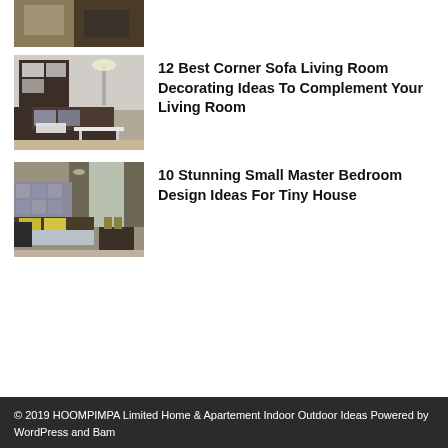[Figure (photo): Partial thumbnail of a room interior, cropped at top of page]
[Figure (photo): Living room with dark corner sofa, white coffee table, wall-mounted shelves]
12 Best Corner Sofa Living Room Decorating Ideas To Complement Your Living Room
[Figure (photo): Master bedroom with upholstered headboard, yellow pillows, dark furniture]
10 Stunning Small Master Bedroom Design Ideas For Tiny House
© 2019 HOOMPIMPA Limited Home & Apartement Indoor Outdoor Ideas Powered by WordPress and Bam